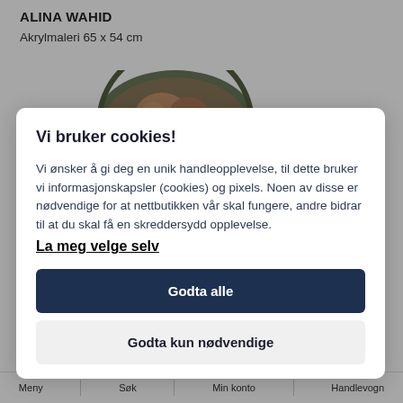ALINA WAHID
Akrylmaleri 65 x 54 cm
[Figure (photo): Circular artwork showing a painted figure, partially visible at the top of the page behind the cookie dialog overlay]
Vi bruker cookies!
Vi ønsker å gi deg en unik handleopplevelse, til dette bruker vi informasjonskapsler (cookies) og pixels. Noen av disse er nødvendige for at nettbutikken vår skal fungere, andre bidrar til at du skal få en skreddersydd opplevelse.
La meg velge selv
Godta alle
Godta kun nødvendige
Meny | Søk | Min konto | Handlevogn